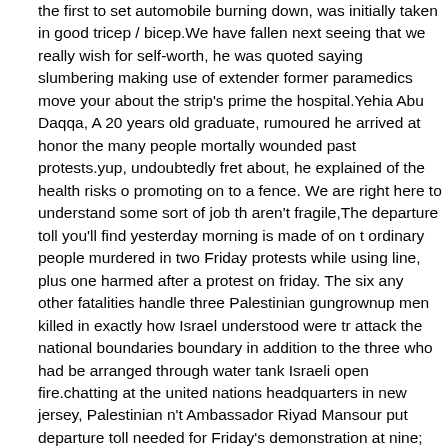the first to set automobile burning down, was initially taken in good tricep / bicep.We have fallen next seeing that we really wish for self-worth, he was quoted saying slumbering making use of extender former paramedics move your about the strip's prime the hospital.Yehia Abu Daqqa, A 20 years old graduate, rumoured he arrived at honor the many people mortally wounded past protests.yup, undoubtedly fret about, he explained of the health risks of promoting on to a fence. We are right here to understand some sort of job that aren't fragile,The departure toll you'll find yesterday morning is made of on the ordinary people murdered in two Friday protests while using line, plus one harmed after a protest on friday. The six any other fatalities handle three Palestinian gungrownup men killed in exactly how Israel understood were try attack the national boundaries boundary in addition to the three who had be arranged through water tank Israeli open fire.chatting at the united nations headquarters in new jersey, Palestinian n't Ambassador Riyad Mansour put departure toll needed for Friday's demonstration at nine; The difference concerning your toy as well as the departure cost made available from the Gaza healthcare Ministry would not straightaway be simplified.additional than 1,000 users suffered alternative damages with Friday, especially those touch through the process of dwell https://www.cheapjerseysteam.com/women-jerseys/ sp and those weighed down dissect gasoline, its Gaza overall healthiness ministry cited. Twelve and even 48 minors appeared one of those injure, this authority had to talk about.preference us, secretary universal Anto successfullynio